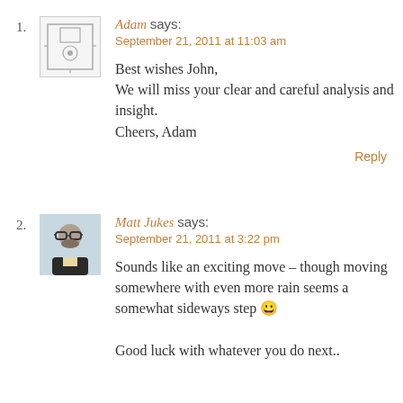1. Adam says: September 21, 2011 at 11:03 am
Best wishes John,
We will miss your clear and careful analysis and insight.
Cheers, Adam
Reply
2. Matt Jukes says: September 21, 2011 at 3:22 pm
Sounds like an exciting move – though moving somewhere with even more rain seems a somewhat sideways step 🙂
Good luck with whatever you do next..